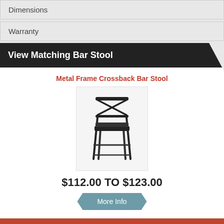Dimensions
Warranty
View Matching Bar Stool
Metal Frame Crossback Bar Stool
[Figure (photo): Metal frame crossback bar stool with black upholstered seat]
$112.00 TO $123.00
More Info
Blogs : Links : Terms of Use : Privacy Policy : Contact Us Sitemap